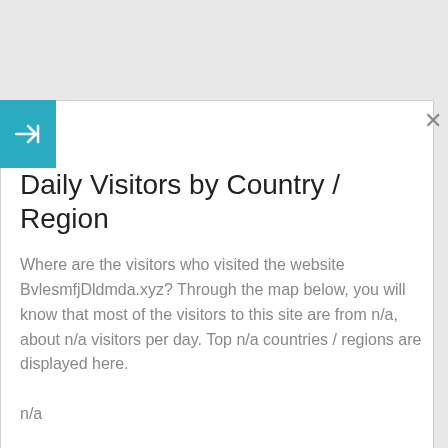Daily Visitors by Country / Region
Where are the visitors who visited the website BvlesmfjDldmda.xyz? Through the map below, you will know that most of the visitors to this site are from n/a, about n/a visitors per day. Top n/a countries / regions are displayed here.
n/a